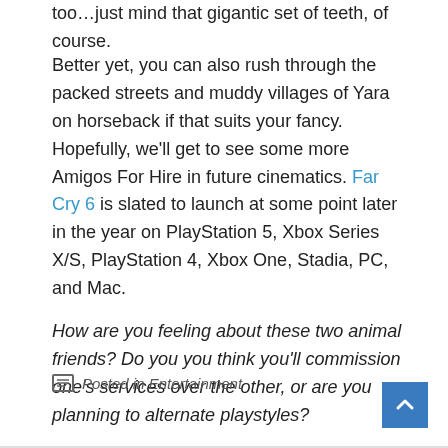too…just mind that gigantic set of teeth, of course.
Better yet, you can also rush through the packed streets and muddy villages of Yara on horseback if that suits your fancy. Hopefully, we'll get to see some more Amigos For Hire in future cinematics. Far Cry 6 is slated to launch at some point later in the year on PlayStation 5, Xbox Series X/S, PlayStation 4, Xbox One, Stadia, PC, and Mac.
How are you feeling about these two animal friends? Do you you think you'll commission one's services over the other, or are you planning to alternate playstyles?
Posted in Entertainment